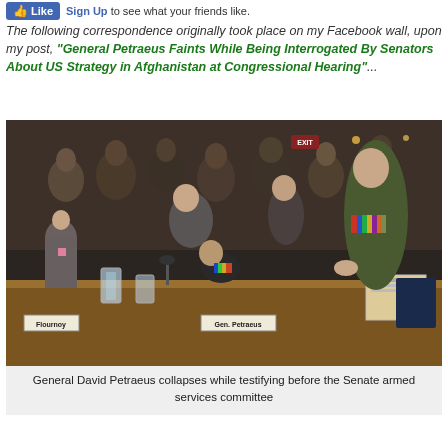Like Sign Up to see what your friends like.
The following correspondence originally took place on my Facebook wall, upon my post, "General Petraeus Faints While Being Interrogated By Senators About US Strategy in Afghanistan at Congressional Hearing"...
[Figure (photo): Photo of General David Petraeus collapsing at a Senate hearing table, being supported by aides. Name plates reading 'Flournoy' and 'Gen. Petraeus' are visible on the table. A military officer in green uniform assists on the right.]
General David Petraeus collapses while testifying before the Senate armed services committee